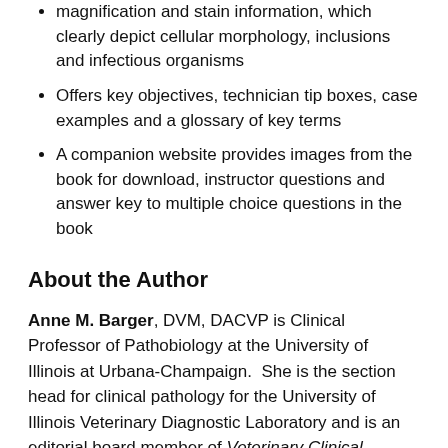Features high quality photographs labelled with magnification and stain information, which clearly depict cellular morphology, inclusions and infectious organisms
Offers key objectives, technician tip boxes, case examples and a glossary of key terms
A companion website provides images from the book for download, instructor questions and answer key to multiple choice questions in the book
About the Author
Anne M. Barger, DVM, DACVP is Clinical Professor of Pathobiology at the University of Illinois at Urbana-Champaign.  She is the section head for clinical pathology for the University of Illinois Veterinary Diagnostic Laboratory and is an editorial board member of Veterinary Clinical Pathology.Amy L. MacNeill, DVM, DACVP graduated from the University of Florida with a doctorate in veterinary medicine in 1998, became a board-certified veterinary